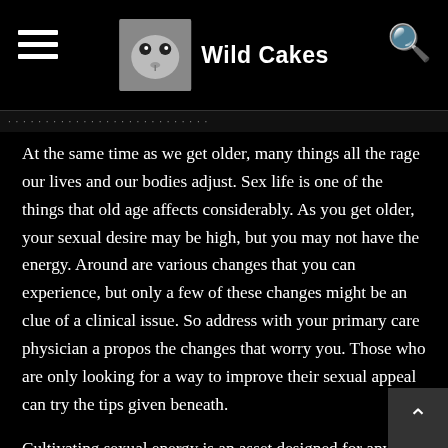[Figure (logo): Wild Cakes website header with hamburger menu icon on left, Wild Cakes logo (cat face image) and site name in center, and search icon on right]
Wild Cakes
At the same time as we get older, many things all the rage our lives and our bodies adjust. Sex life is one of the things that old age affects considerably. As you get older, your sexual desire may be high, but you may not have the energy. Around are various changes that you can experience, but only a few of these changes might be an clue of a clinical issue. So address with your primary care physician a propos the changes that worry you. Those who are only looking for a way to improve their sexual appeal can try the tips given beneath.
Cultivating sexual energy is an asset designed for any man. If you want en route for take your lovemaking to new heights and bring your woman to the moon and back,